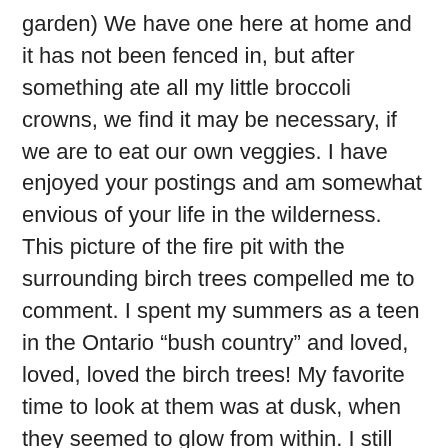garden) We have one here at home and it has not been fenced in, but after something ate all my little broccoli crowns, we find it may be necessary, if we are to eat our own veggies. I have enjoyed your postings and am somewhat envious of your life in the wilderness. This picture of the fire pit with the surrounding birch trees compelled me to comment. I spent my summers as a teen in the Ontario “bush country” and loved, loved, loved the birch trees! My favorite time to look at them was at dusk, when they seemed to glow from within. I still have old recipes that I learned to cook on a wood burning stove, written on pieces of bark. I have always wanted to go back to Canada to spend time in the woods, near the lake. When I